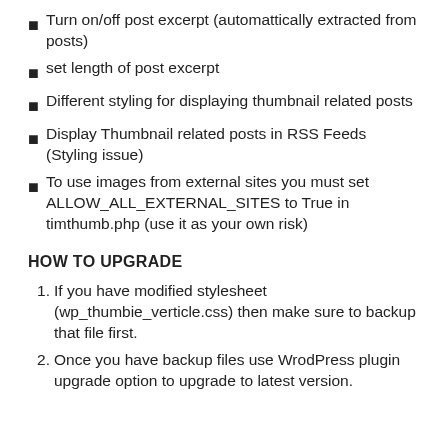Turn on/off post excerpt (automattically extracted from posts)
set length of post excerpt
Different styling for displaying thumbnail related posts
Display Thumbnail related posts in RSS Feeds (Styling issue)
To use images from external sites you must set ALLOW_ALL_EXTERNAL_SITES to True in timthumb.php (use it as your own risk)
HOW TO UPGRADE
If you have modified stylesheet (wp_thumbie_verticle.css) then make sure to backup that file first.
Once you have backup files use WrodPress plugin upgrade option to upgrade to latest version.